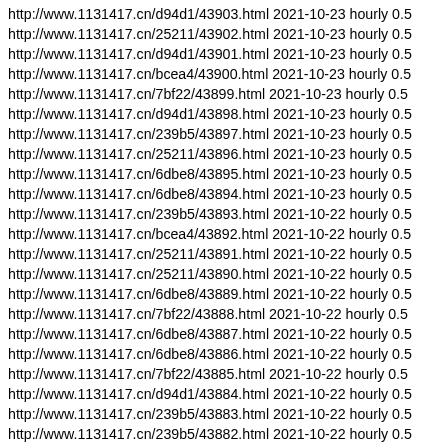http://www.1131417.cn/d94d1/43903.html 2021-10-23 hourly 0.5
http://www.1131417.cn/25211/43902.html 2021-10-23 hourly 0.5
http://www.1131417.cn/d94d1/43901.html 2021-10-23 hourly 0.5
http://www.1131417.cn/bcea4/43900.html 2021-10-23 hourly 0.5
http://www.1131417.cn/7bf22/43899.html 2021-10-23 hourly 0.5
http://www.1131417.cn/d94d1/43898.html 2021-10-23 hourly 0.5
http://www.1131417.cn/239b5/43897.html 2021-10-23 hourly 0.5
http://www.1131417.cn/25211/43896.html 2021-10-23 hourly 0.5
http://www.1131417.cn/6dbe8/43895.html 2021-10-23 hourly 0.5
http://www.1131417.cn/6dbe8/43894.html 2021-10-23 hourly 0.5
http://www.1131417.cn/239b5/43893.html 2021-10-22 hourly 0.5
http://www.1131417.cn/bcea4/43892.html 2021-10-22 hourly 0.5
http://www.1131417.cn/25211/43891.html 2021-10-22 hourly 0.5
http://www.1131417.cn/25211/43890.html 2021-10-22 hourly 0.5
http://www.1131417.cn/6dbe8/43889.html 2021-10-22 hourly 0.5
http://www.1131417.cn/7bf22/43888.html 2021-10-22 hourly 0.5
http://www.1131417.cn/6dbe8/43887.html 2021-10-22 hourly 0.5
http://www.1131417.cn/6dbe8/43886.html 2021-10-22 hourly 0.5
http://www.1131417.cn/7bf22/43885.html 2021-10-22 hourly 0.5
http://www.1131417.cn/d94d1/43884.html 2021-10-22 hourly 0.5
http://www.1131417.cn/239b5/43883.html 2021-10-22 hourly 0.5
http://www.1131417.cn/239b5/43882.html 2021-10-22 hourly 0.5
http://www.1131417.cn/d94d1/43881.html 2021-10-22 hourly 0.5
http://www.1131417.cn/d94d1/43880.html 2021-10-22 hourly 0.5
http://www.1131417.cn/239b5/43879.html 2021-10-22 hourly 0.5